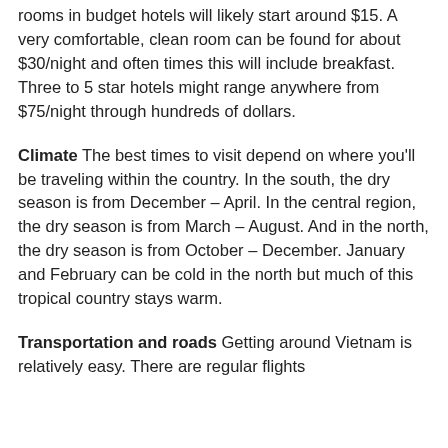rooms in budget hotels will likely start around $15. A very comfortable, clean room can be found for about $30/night and often times this will include breakfast. Three to 5 star hotels might range anywhere from $75/night through hundreds of dollars.
Climate The best times to visit depend on where you'll be traveling within the country. In the south, the dry season is from December – April. In the central region, the dry season is from March – August. And in the north, the dry season is from October – December. January and February can be cold in the north but much of this tropical country stays warm.
Transportation and roads Getting around Vietnam is relatively easy. There are regular flights